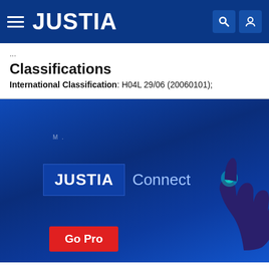JUSTIA
Classifications
International Classification: H04L 29/06 (20060101);
[Figure (screenshot): Justia Connect promotional banner with blue gradient background, 'JUSTIA Connect' logo, a hand with glowing fingertip, and a red 'Go Pro' button]